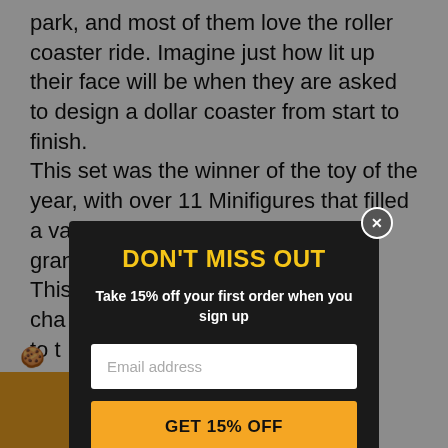park, and most of them love the roller coaster ride. Imagine just how lit up their face will be when they are asked to design a dollar coaster from start to finish. This set was the winner of the toy of the year, with over 11 Minifigures that filled a vari... gran... This... cha... to t...
[Figure (screenshot): Modal popup with dark background showing 'DON'T MISS OUT' in yellow, subtitle 'Take 15% off your first order when you sign up' in white bold, an email address input field, and a 'GET 15% OFF' yellow button. A close button (X) is in the top right corner.]